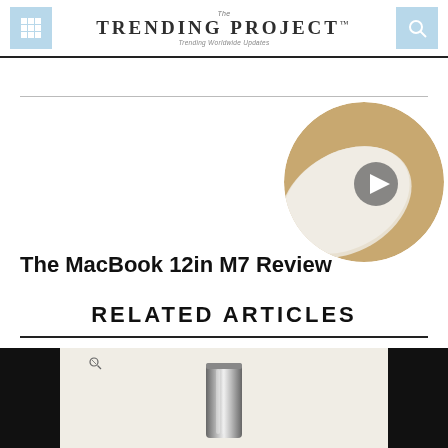The Trending Project™ — Trending Worldwide Updates
[Figure (photo): Circular thumbnail image of a MacBook with a wood surface and a video play button overlay]
The MacBook 12in M7 Review
RELATED ARTICLES
[Figure (photo): Bottom article thumbnail image showing a metallic cylindrical object on a light background, flanked by black bars on left and right]